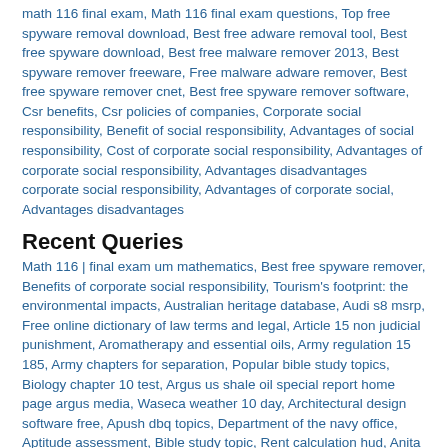math 116 final exam, Math 116 final exam questions, Top free spyware removal download, Best free adware removal tool, Best free spyware download, Best free malware remover 2013, Best spyware remover freeware, Free malware adware remover, Best free spyware remover cnet, Best free spyware remover software, Csr benefits, Csr policies of companies, Corporate social responsibility, Benefit of social responsibility, Advantages of social responsibility, Cost of corporate social responsibility, Advantages of corporate social responsibility, Advantages disadvantages corporate social responsibility, Advantages of corporate social, Advantages disadvantages
Recent Queries
Math 116 | final exam um mathematics, Best free spyware remover, Benefits of corporate social responsibility, Tourism's footprint: the environmental impacts, Australian heritage database, Audi s8 msrp, Free online dictionary of law terms and legal, Article 15 non judicial punishment, Aromatherapy and essential oils, Army regulation 15 185, Army chapters for separation, Popular bible study topics, Biology chapter 10 test, Argus us shale oil special report home page argus media, Waseca weather 10 day, Architectural design software free, Apush dbq topics, Department of the navy office, Aptitude assessment, Bible study topic, Rent calculation hud, Anita clothing, American standard water heater prices, Have faith in god lyrics, Altivar 31 price